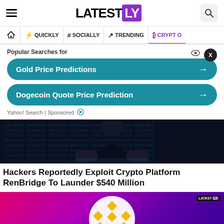LATESTLY
QUICKLY | # SOCIALLY | TRENDING | CRYPTO
Popular Searches for
Gold Price Predictions →
Dogecoin Quote Price Prediction →
Yahoo! Search | Sponsored
[Figure (photo): Dark hacker silhouette with binary code background - article hero image]
Hackers Reportedly Exploit Crypto Platform RenBridge To Launder $540 Million
[Figure (photo): Binance logo on pink-purple gradient background with LatestLY watermark]